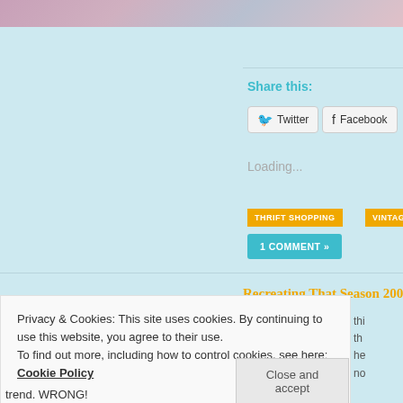[Figure (photo): Partial cropped image at top of page, showing blurred colorful photo]
Share this:
Twitter
Facebook
Pinterest
Loading...
THRIFT SHOPPING
VINTAGE CLOTHING & ACCESSORIES
1 COMMENT »
Recreating That Season 200...
Privacy & Cookies: This site uses cookies. By continuing to use this website, you agree to their use.
To find out more, including how to control cookies, see here: Cookie Policy
Close and accept
trend. WRONG!